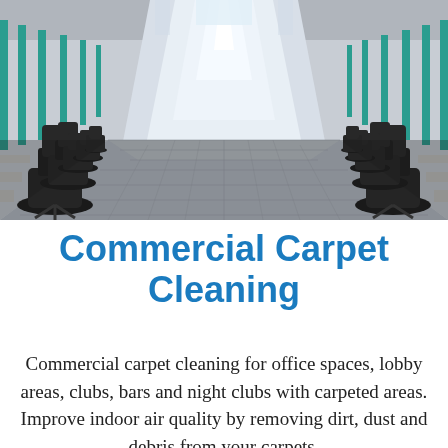[Figure (photo): Office space with rows of workstation desks with black ergonomic chairs on both sides of a central aisle, teal cubicle dividers, grey carpeted floor, and large windows in the background letting in natural light.]
Commercial Carpet Cleaning
Commercial carpet cleaning for office spaces, lobby areas, clubs, bars and night clubs with carpeted areas. Improve indoor air quality by removing dirt, dust and debris from your carpets.